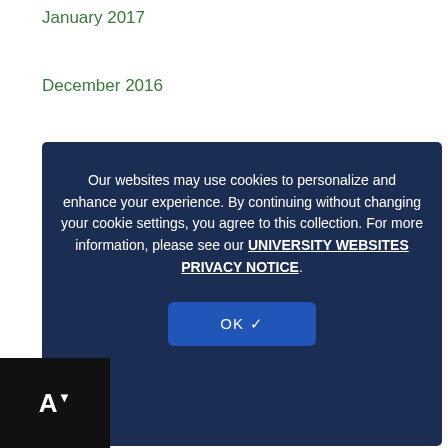January 2017
December 2016
November 2016
October 2016
September 2016
August 2016
July 2016
June 2016
May 2016
April 2016
Our websites may use cookies to personalize and enhance your experience. By continuing without changing your cookie settings, you agree to this collection. For more information, please see our UNIVERSITY WEBSITES PRIVACY NOTICE.